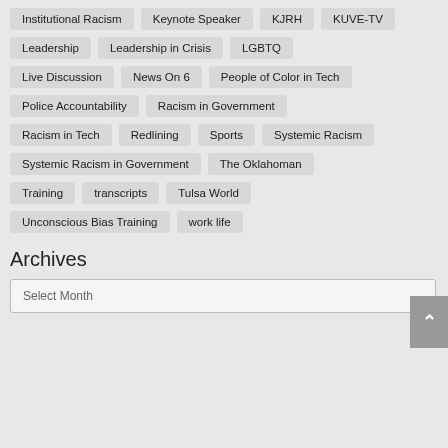Institutional Racism
Keynote Speaker
KJRH
KUVE-TV
Leadership
Leadership in Crisis
LGBTQ
Live Discussion
News On 6
People of Color in Tech
Police Accountability
Racism in Government
Racism in Tech
Redlining
Sports
Systemic Racism
Systemic Racism in Government
The Oklahoman
Training
transcripts
Tulsa World
Unconscious Bias Training
work life
Archives
Select Month